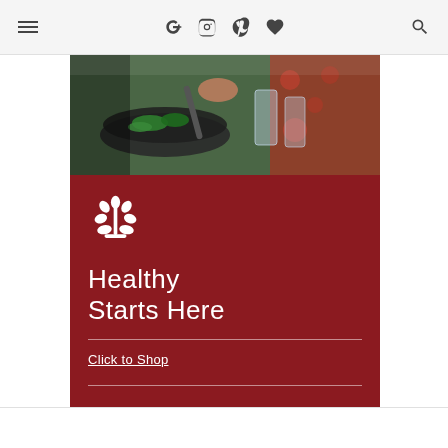Navigation bar with menu icon, social icons (Google+, Instagram, Pinterest, Heart/Bloglovin), and search icon
[Figure (photo): Overhead photo of a person preparing food in a wok/pan with green vegetables, alongside glass cups and condiments on a table with floral cloth]
[Figure (logo): White plant/sprout icon with leaves on dark red background]
Healthy Starts Here
Click to Shop